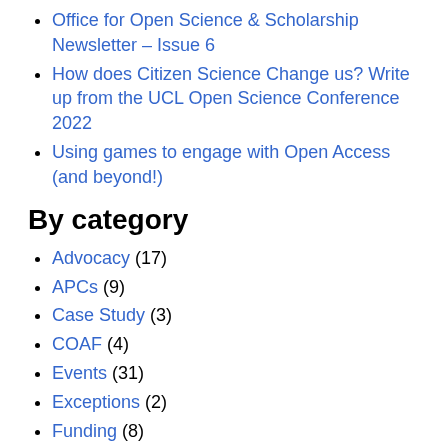Office for Open Science & Scholarship Newsletter – Issue 6
How does Citizen Science Change us? Write up from the UCL Open Science Conference 2022
Using games to engage with Open Access (and beyond!)
By category
Advocacy (17)
APCs (9)
Case Study (3)
COAF (4)
Events (31)
Exceptions (2)
Funding (8)
Gold (7)
Guest post (10)
Love Data Week (10)
Newsletter (6)
Open Access Week 2017 (5)